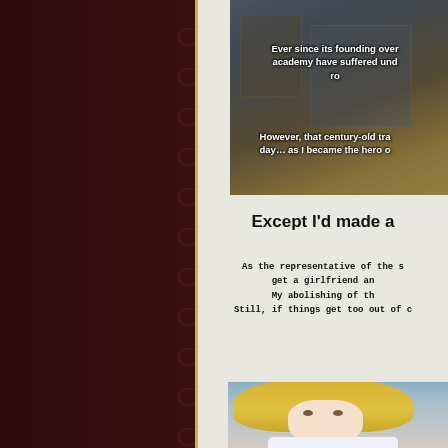[Figure (illustration): Visual novel screenshot showing a school building scene with overlaid text about the academy's history and a dark overlay. Left side shows dark reddish-brown panel with spiral notebook binding. Right side shows a notebook page with top illustration of school, text, and bottom illustration of an anime-style blonde girl character.]
Ever since its founding over [X years ago], students at this academy have suffered under [a century-old tradition/ro...]
However, that century-old tradition was broken on that day... as I became the hero of...
Except I'd made a
As the representative of the s[tudents, I promised to] get a girlfriend an[d...] My abolishing of th[e...] Still, if things get too out of c[ontrol...]